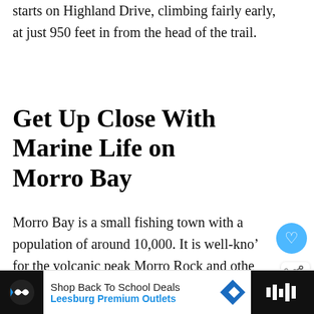starts on Highland Drive, climbing fairly early, at just 950 feet in from the head of the trail.
Get Up Close With Marine Life on Morro Bay
Morro Bay is a small fishing town with a population of around 10,000. It is well-known for the volcanic peak Morro Rock and other peaks, diverse and abundant marine life, stunning white-sand beaches. An hour's drive from...